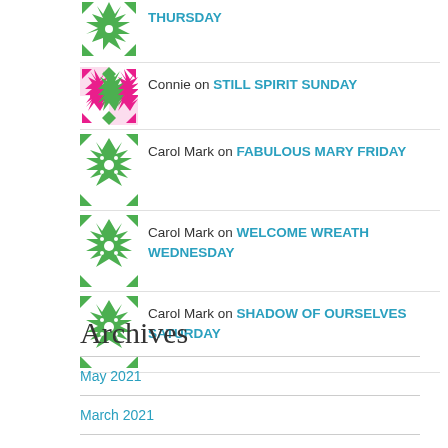THURSDAY
Connie on STILL SPIRIT SUNDAY
Carol Mark on FABULOUS MARY FRIDAY
Carol Mark on WELCOME WREATH WEDNESDAY
Carol Mark on SHADOW OF OURSELVES SATURDAY
Archives
May 2021
March 2021
February 2021